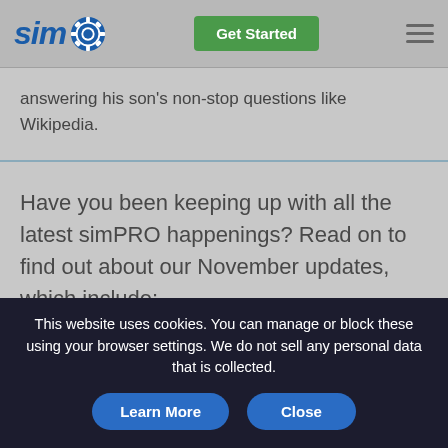[Figure (logo): simPRO logo with blue italic 'sim' text and blue circular gear icon]
Get Started
answering his son's non-stop questions like Wikipedia.
Have you been keeping up with all the latest simPRO happenings? Read on to find out about our November updates, which include:
Advanced Timeline Notes
This website uses cookies. You can manage or block these using your browser settings. We do not sell any personal data that is collected.
Learn More
Close